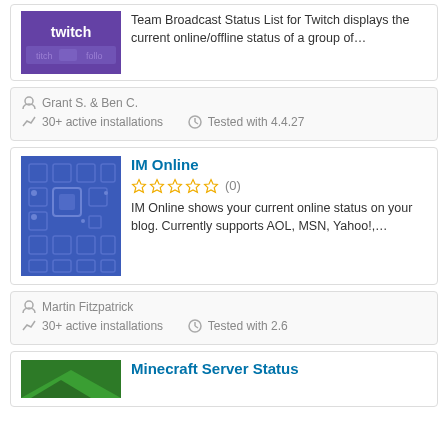[Figure (screenshot): Twitch plugin thumbnail - purple background with twitch logo]
Team Broadcast Status List for Twitch displays the current online/offline status of a group of…
Grant S. & Ben C.
30+ active installations
Tested with 4.4.27
IM Online
[Figure (screenshot): IM Online plugin thumbnail - blue background with grid pattern]
(0)
IM Online shows your current online status on your blog. Currently supports AOL, MSN, Yahoo!,…
Martin Fitzpatrick
30+ active installations
Tested with 2.6
Minecraft Server Status
[Figure (screenshot): Minecraft Server Status plugin thumbnail - green background]